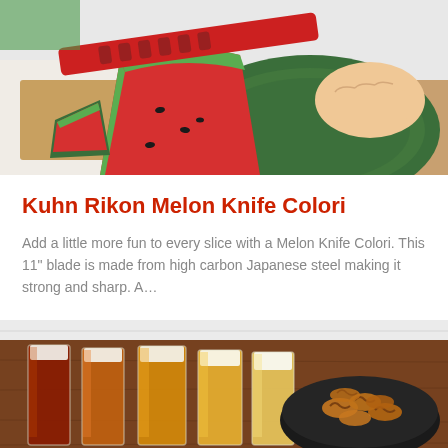[Figure (photo): Person cutting a watermelon with a red Kuhn Rikon Melon Knife Colori on a cutting board]
Kuhn Rikon Melon Knife Colori
Add a little more fun to every slice with a Melon Knife Colori. This 11" blade is made from high carbon Japanese steel making it strong and sharp. A…
[Figure (photo): Several glasses of beer in various shades from dark to light next to a bowl of pretzels on a wooden table]